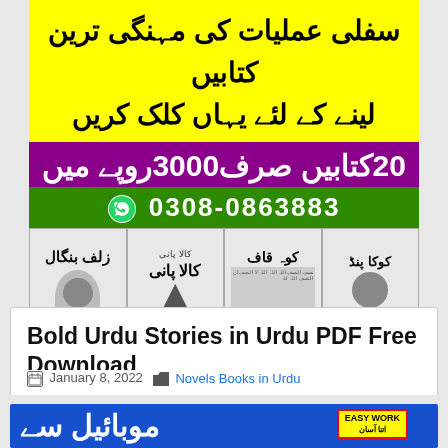[Figure (infographic): Advertisement banner with yellow background and Urdu text about expensive books, purple section with '20 books only 3000 rupees', green WhatsApp section with phone number 0308-0863883, and four book covers below showing Urdu books: Zulf Bengal, Kala Pani, Koh Qaaf, Coca Panda]
Bold Urdu Stories in Urdu PDF Free Download
January 8, 2022   Novels Books in Urdu
[Figure (infographic): Blue banner with Urdu text 'Mobile se' and a phone showing 'EASY WORK' label]